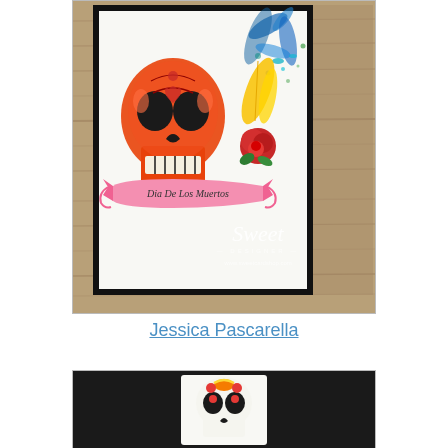[Figure (photo): A colorful Dia De Los Muertos craft card featuring an orange sugar skull with ornate details, colorful watercolor splatters in blue, teal, and yellow in the background, yellow feathers, a red rose, and a pink banner reading 'Dia De Los Muertos'. The card is mounted on a black mat and placed on a rustic wooden surface. A 'Sweet Designer' watermark is visible in the lower right of the photo.]
Jessica Pascarella
[Figure (photo): A partial view of another Dia De Los Muertos card featuring a white sugar skull with colorful floral decorations in red, orange, and yellow on a black background.]